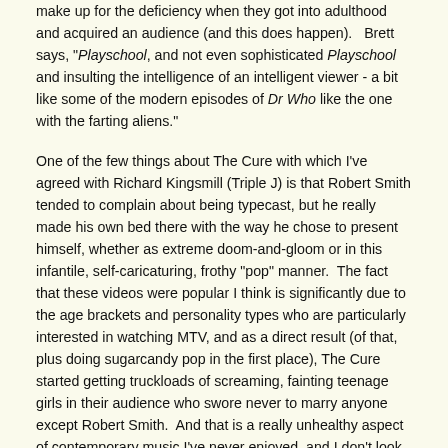make up for the deficiency when they got into adulthood and acquired an audience (and this does happen).   Brett says, "Playschool, and not even sophisticated Playschool and insulting the intelligence of an intelligent viewer - a bit like some of the modern episodes of Dr Who like the one with the farting aliens."
One of the few things about The Cure with which I've agreed with Richard Kingsmill (Triple J) is that Robert Smith tended to complain about being typecast, but he really made his own bed there with the way he chose to present himself, whether as extreme doom-and-gloom or in this infantile, self-caricaturing, frothy "pop" manner.  The fact that these videos were popular I think is significantly due to the age brackets and personality types who are particularly interested in watching MTV, and as a direct result (of that, plus doing sugarcandy pop in the first place), The Cure started getting truckloads of screaming, fainting teenage girls in their audience who swore never to marry anyone except Robert Smith.  And that is a really unhealthy aspect of contemporary music I've never enjoyed, and I don't look kindly on moves that are done to encourage this, even if unwittingly done.
End of sermon.  It's a good thing they've stopped doing this, because that's a pet hate for me.  In some ways, middle age forces that to stop because then it's no longer considered sexy except as a minority fetish thing, and anyway, by that time both